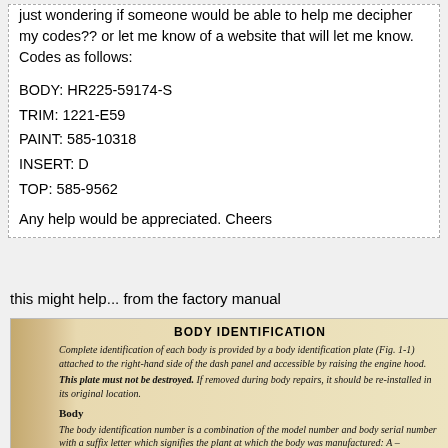just wondering if someone would be able to help me decipher my codes?? or let me know of a website that will let me know. Codes as follows:
BODY: HR225-59174-S
TRIM: 1221-E59
PAINT: 585-10318
INSERT: D
TOP: 585-9562
Any help would be appreciated. Cheers
this might help... from the factory manual
[Figure (photo): Photo of a factory manual page showing 'BODY IDENTIFICATION' heading in bold, with italic text describing body identification plates on the dash panel, and a 'Body' section explaining the body identification number as a combination of model number and body serial number with suffix letter indicating manufacturing plant (A=Adelaide, M=Melbourne, S=Sydney, NZ=New Zealand).]